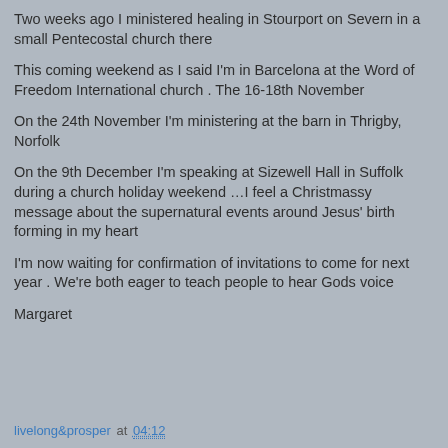Two weeks ago I ministered healing in Stourport on Severn in a small Pentecostal church there
This coming weekend as I said I'm in Barcelona at the Word of Freedom International church . The 16-18th November
On the 24th November I'm ministering at the barn in Thrigby, Norfolk
On the 9th December I'm speaking at Sizewell Hall in Suffolk during a church holiday weekend …I feel a Christmassy message about the supernatural events around Jesus' birth forming in my heart
I'm now waiting for confirmation of invitations to come for next year . We're both eager to teach people to hear Gods voice
Margaret
livelong&prosper at 04:12